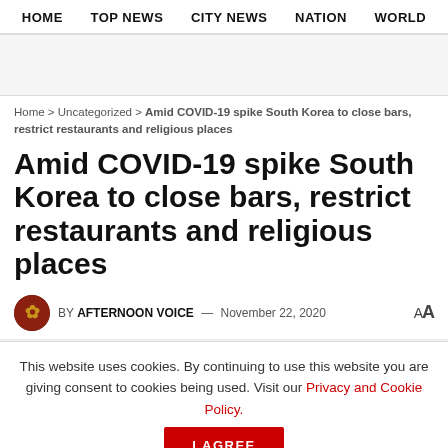HOME   TOP NEWS   CITY NEWS   NATION   WORLD
Home > Uncategorized > Amid COVID-19 spike South Korea to close bars, restrict restaurants and religious places
Amid COVID-19 spike South Korea to close bars, restrict restaurants and religious places
BY AFTERNOON VOICE — November 22, 2020   AA
This website uses cookies. By continuing to use this website you are giving consent to cookies being used. Visit our Privacy and Cookie Policy.
I Agree